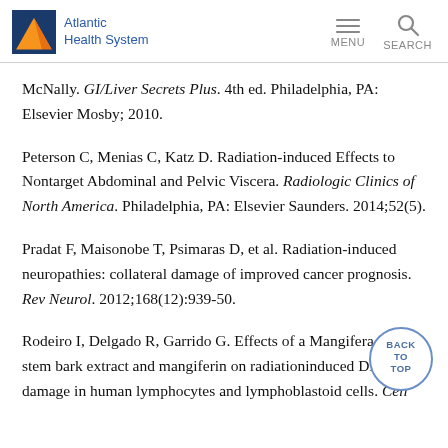Atlantic Health System
McNally. GI/Liver Secrets Plus. 4th ed. Philadelphia, PA: Elsevier Mosby; 2010.
Peterson C, Menias C, Katz D. Radiation-induced Effects to Nontarget Abdominal and Pelvic Viscera. Radiologic Clinics of North America. Philadelphia, PA: Elsevier Saunders. 2014;52(5).
Pradat F, Maisonobe T, Psimaras D, et al. Radiation-induced neuropathies: collateral damage of improved cancer prognosis. Rev Neurol. 2012;168(12):939-50.
Rodeiro I, Delgado R, Garrido G. Effects of a Mangifera indica stem bark extract and mangiferin on radiationinduced DNA damage in human lymphocytes and lymphoblastoid cells. Cell